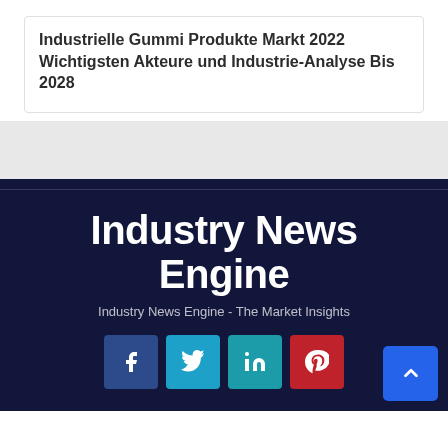Industrielle Gummi Produkte Markt 2022 Wichtigsten Akteure und Industrie-Analyse Bis 2028
Industry News Engine
Industry News Engine - The Market Insights